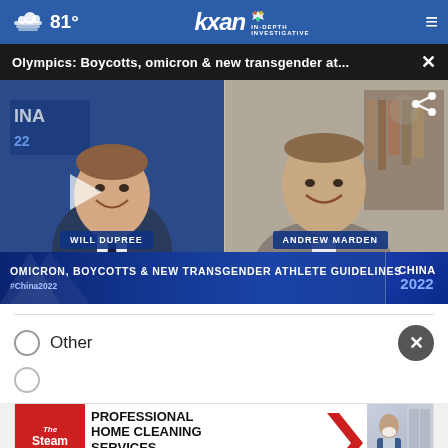81° KXAN IN-DEPTH INVESTIGATIVE
Olympics: Boycotts, omicron & new transgender at...
[Figure (screenshot): TV news video screenshot showing two men (Will Dupree and Andrew Marden) in a split screen interview. Lower third banner reads: OMICRON, BOYCOTTS & NEW TRANSGENDER ATHLETE GUIDELINES with China 2022 branding.]
Other
[Figure (infographic): Advertisement for The Steam Team: PROFESSIONAL HOME CLEANING SERVICES with CONTACT US button]